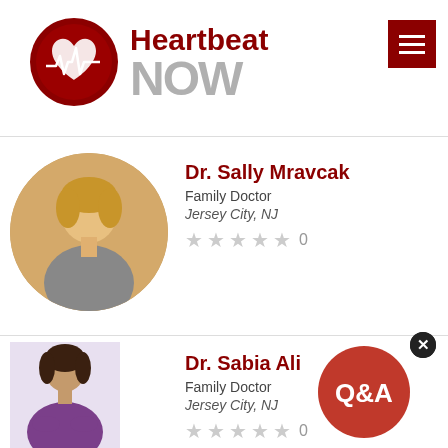[Figure (logo): Heartbeat NOW logo with red circle containing heart and ECG line, bold red 'Heartbeat' text and grey 'NOW' text]
[Figure (other): Red hamburger menu button in top right corner]
[Figure (photo): Circular photo of Dr. Sally Mravcak, a blonde woman smiling]
Dr. Sally Mravcak
Family Doctor
Jersey City, NJ
★★★★★ 0
[Figure (photo): Photo of Dr. Sabia Ali, a woman in purple top with arms crossed]
Dr. Sabia Ali
Family Doctor
Jersey City, NJ
★★★★★ 0
[Figure (other): Orange-red circular Q&A badge with white text 'Q&A' and a close X button]